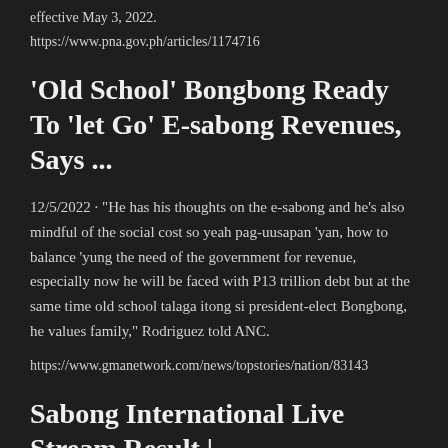effective May 3, 2022.
https://www.pna.gov.ph/articles/1174716
'Old School' Bongbong Ready To 'let Go' E-sabong Revenues, Says ...
12/5/2022 · "He has his thoughts on the e-sabong and he's also mindful of the social cost so yeah pag-uusapan 'yan, how to balance 'yung the need of the government for revenue, especially now he will be faced with P13 trillion debt but at the same time old school talaga itong si president-elect Bongbong, he values family," Rodriguez told ANC.
https://www.gmanetwork.com/news/topstories/nation/83143
Sabong International Live Stream Result | Sabongonlinegame....